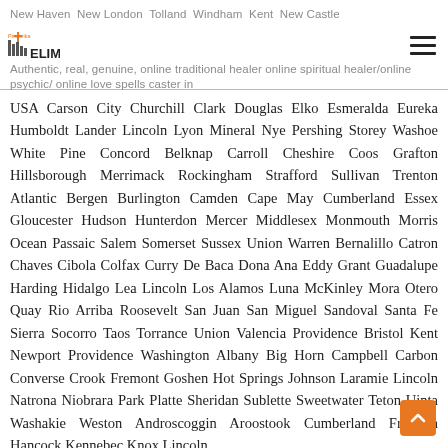New Haven New London Tolland Windham Kent New Castle | Pinecrika ELIM | Authentic, real, genuine, online traditional healer online spiritual healer/online psychic/ online love spells caster in
USA Carson City Churchill Clark Douglas Elko Esmeralda Eureka Humboldt Lander Lincoln Lyon Mineral Nye Pershing Storey Washoe White Pine Concord Belknap Carroll Cheshire Coos Grafton Hillsborough Merrimack Rockingham Strafford Sullivan Trenton Atlantic Bergen Burlington Camden Cape May Cumberland Essex Gloucester Hudson Hunterdon Mercer Middlesex Monmouth Morris Ocean Passaic Salem Somerset Sussex Union Warren Bernalillo Catron Chaves Cibola Colfax Curry De Baca Dona Ana Eddy Grant Guadalupe Harding Hidalgo Lea Lincoln Los Alamos Luna McKinley Mora Otero Quay Rio Arriba Roosevelt San Juan San Miguel Sandoval Santa Fe Sierra Socorro Taos Torrance Union Valencia Providence Bristol Kent Newport Providence Washington Albany Big Horn Campbell Carbon Converse Crook Fremont Goshen Hot Springs Johnson Laramie Lincoln Natrona Niobrara Park Platte Sheridan Sublette Sweetwater Teton Uinta Washakie Weston Androscoggin Aroostook Cumberland Franklin Hancock Kennebec Knox Lincoln Oxford Penobscot Piscataquis Sagadahoc Somerset Waldo